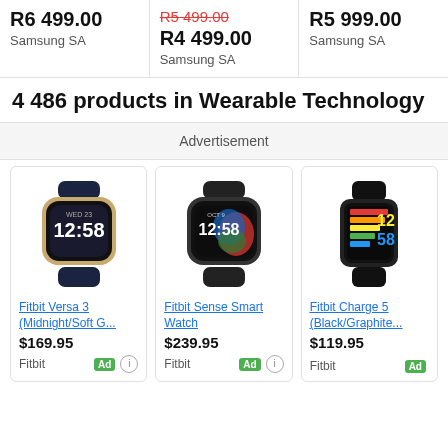R6 499.00
Samsung SA
R5 499.00 (strikethrough)
R4 499.00
Samsung SA
R5 999.00
Samsung SA
4 486 products in Wearable Technology
Advertisement
[Figure (photo): Fitbit Versa 3 smartwatch in Midnight/Soft Gold colorway showing 12:58 on display]
Fitbit Versa 3 (Midnight/Soft G...
$169.95
Fitbit
[Figure (photo): Fitbit Sense Smart Watch in black/graphite showing 12:58 on colorful display]
Fitbit Sense Smart Watch
$239.95
Fitbit
[Figure (photo): Fitbit Charge 5 fitness tracker in Black/Graphite showing 12:58 on display]
Fitbit Charge 5 (Black/Graphite...
$119.95
Fitbit